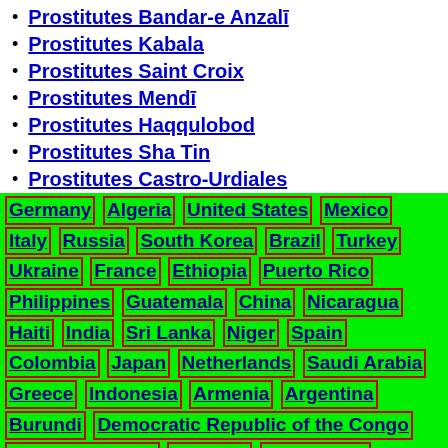Prostitutes Bandar-e Anzalī
Prostitutes Kabala
Prostitutes Saint Croix
Prostitutes Mendī
Prostitutes Haqqulobod
Prostitutes Sha Tin
Prostitutes Castro-Urdiales
[Figure (other): Green background tag cloud of country names as linked tags with red borders: Germany, Algeria, United States, Mexico, Italy, Russia, South Korea, Brazil, Turkey, Ukraine, France, Ethiopia, Puerto Rico, Philippines, Guatemala, China, Nicaragua, Haiti, India, Sri Lanka, Niger, Spain, Colombia, Japan, Netherlands, Saudi Arabia, Greece, Indonesia, Armenia, Argentina, Burundi, Democratic Republic of the Congo, United Kingdom, Portugal, Ivory Coast, Ecuador, Thailand, Belarus, Nigeria, Poland, Libya, Angola, Afghanistan, Belgium, Botswana, Australia, Costa Rica, Canada, Syria, Iran, United Arab Emirates, Bolivia, Honduras, Madagascar, Bangladesh, Mauritius, Tunisia, Namibia, Tanzania, Sudan, Vietnam, Chad, Cuba, Chile, Dominican Republic (partial)]